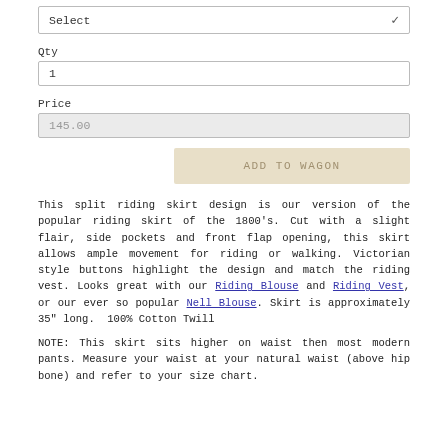Select
Qty
1
Price
145.00
ADD TO WAGON
This split riding skirt design is our version of the popular riding skirt of the 1800's. Cut with a slight flair, side pockets and front flap opening, this skirt allows ample movement for riding or walking. Victorian style buttons highlight the design and match the riding vest. Looks great with our Riding Blouse and Riding Vest, or our ever so popular Nell Blouse. Skirt is approximately 35" long.  100% Cotton Twill
NOTE: This skirt sits higher on waist then most modern pants. Measure your waist at your natural waist (above hip bone) and refer to your size chart.